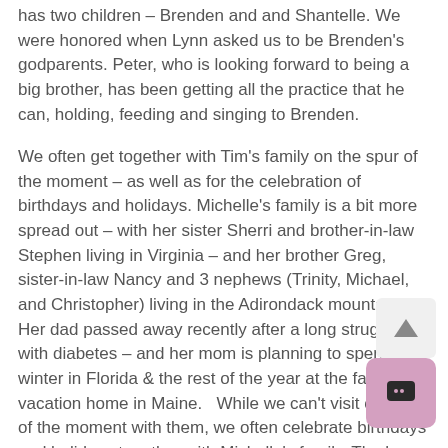has two children – Brenden and and Shantelle. We were honored when Lynn asked us to be Brenden's godparents. Peter, who is looking forward to being a big brother, has been getting all the practice that he can, holding, feeding and singing to Brenden.
We often get together with Tim's family on the spur of the moment – as well as for the celebration of birthdays and holidays. Michelle's family is a bit more spread out – with her sister Sherri and brother-in-law Stephen living in Virginia – and her brother Greg, sister-in-law Nancy and 3 nephews (Trinity, Michael, and Christopher) living in the Adirondack mountains. Her dad passed away recently after a long struggle with diabetes – and her mom is planning to spend winter in Florida & the rest of the year at the family vacation home in Maine. While we can't visit on spur of the moment with them, we often celebrate birthdays and holidays together with Michelle's family. The home in Maine is on a lake and in the